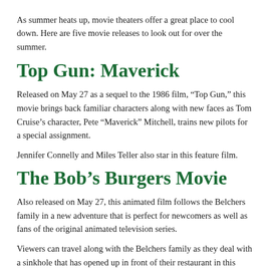As summer heats up, movie theaters offer a great place to cool down. Here are five movie releases to look out for over the summer.
Top Gun: Maverick
Released on May 27 as a sequel to the 1986 film, “Top Gun,” this movie brings back familiar characters along with new faces as Tom Cruise’s character, Pete “Maverick” Mitchell, trains new pilots for a special assignment.
Jennifer Connelly and Miles Teller also star in this feature film.
The Bob’s Burgers Movie
Also released on May 27, this animated film follows the Belchers family in a new adventure that is perfect for newcomers as well as fans of the original animated television series.
Viewers can travel along with the Belchers family as they deal with a sinkhole that has opened up in front of their restaurant in this